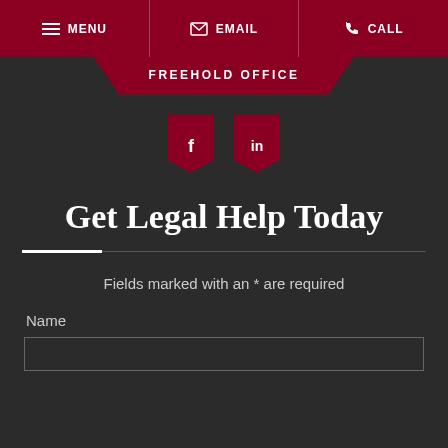MENU  EMAIL  CALL
FREEHOLD OFFICE
[Figure (logo): Facebook and LinkedIn social media icons in dark red banner shapes]
Get Legal Help Today
Fields marked with an * are required
Name